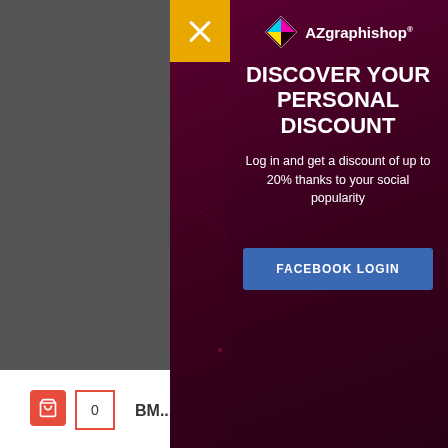This web... cookies t... advertisi... analyzing... consent t...
More inf...
[Figure (screenshot): Website background with cookie notice, blue rectangles, white bottom bar with cart icon showing 0 and 'BM' text]
[Figure (logo): AZgraphishop logo with colorful diamond icon]
DISCOVER YOUR PERSONAL DISCOUNT
Log in and get a discount of up to 20% thanks to your social popularity
FACEBOOK LOGIN